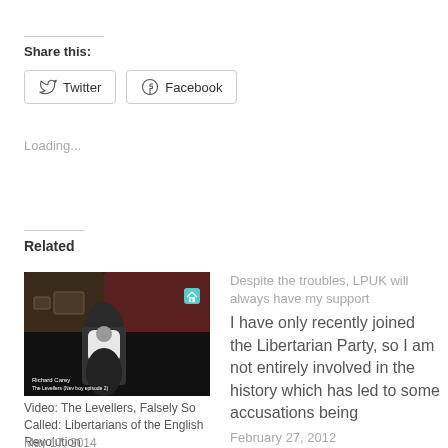Share this:
Twitter   Facebook
Loading...
Related
[Figure (photo): Screenshot from a video showing a young man in a white t-shirt standing in a pub/bar setting. Caption overlay reads: Richard Carey, The Levellers (Nev boy episode 2)]
Video: The Levellers, Falsely So Called: Libertarians of the English Revolution
Despite the troubles, LPUK will always have my support
I have only recently joined the Libertarian Party, so I am not entirely involved in the history which has led to some accusations being
February 27, 2012
In "Institutions"
May 17, 2014